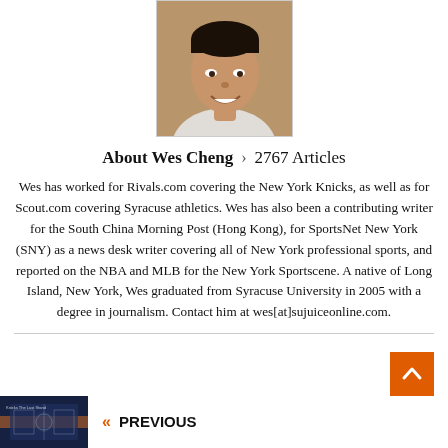[Figure (photo): Headshot photo of Wes Cheng, a young Asian man smiling, wearing a light-colored shirt, against a neutral background.]
About Wes Cheng > 2767 Articles
Wes has worked for Rivals.com covering the New York Knicks, as well as for Scout.com covering Syracuse athletics. Wes has also been a contributing writer for the South China Morning Post (Hong Kong), for SportsNet New York (SNY) as a news desk writer covering all of New York professional sports, and reported on the NBA and MLB for the New York Sportscene. A native of Long Island, New York, Wes graduated from Syracuse University in 2005 with a degree in journalism. Contact him at wes[at]sujuiceonline.com.
[Figure (photo): Small thumbnail image for the previous article, showing a basketball game scene with orange/dark blue tones.]
« PREVIOUS